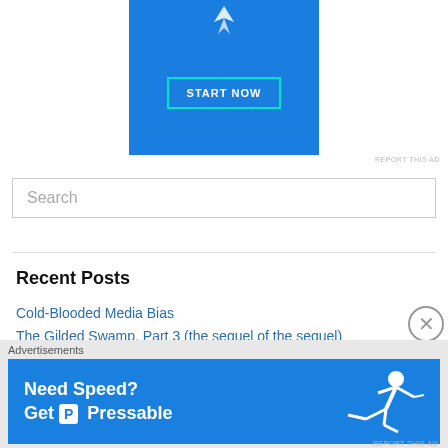[Figure (screenshot): Blue advertisement banner with START NOW button]
REPORT THIS AD
[Figure (screenshot): Search input box with placeholder text Search]
Recent Posts
Cold-Blooded Media Bias
The Gilded Swamp, Part 3 (the sequel of the sequel)
The Gilded Swamp (Part 2)
[Figure (screenshot): Advertisements banner: Need Speed? Get Pressable with a running person graphic]
REPORT THIS AD